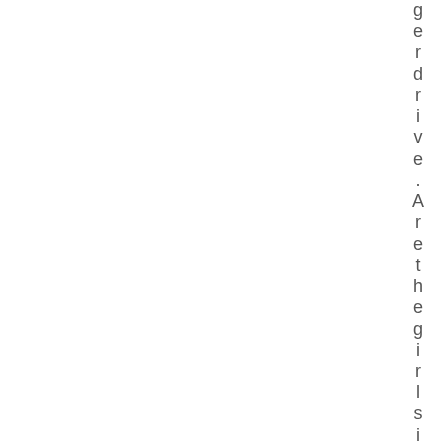gerdrive. Are the girls in Klagenfu